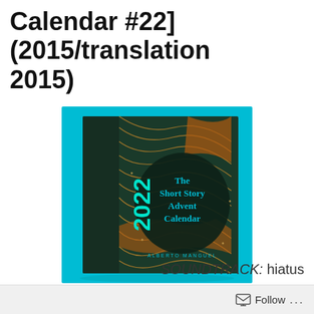2022 Short Story Advent Calendar #22] (2015/translation 2015)
[Figure (photo): Book cover of 'The Short Story Advent Calendar' 2022 edition with teal background, dark cover with gold wave patterns and teal text, spine showing '2022'.]
SOUNDTRACK:  hiatus
Follow ...